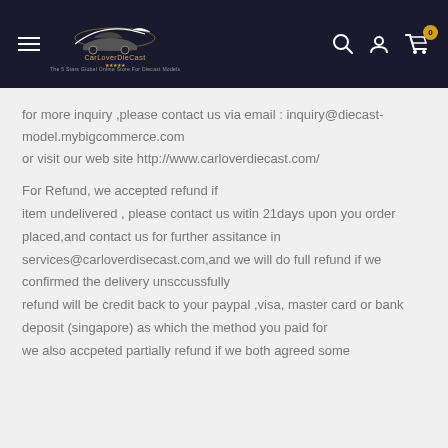CarLoverDieCast website header with hamburger menu, logo, search, account, and cart icons
for more inquiry ,please contact us via email : inquiry@diecast-model.mybigcommerce.com
or visit our web site http://www.carloverdiecast.com/
For Refund, we accepted refund if
item undelivered , please contact us witin 21days upon you order placed,and contact us for further assitance in services@carloverdisecast.com,and we will do full refund if we confirmed the delivery unsccussfully
refund will be credit back to your paypal ,visa, master card or bank deposit (singapore) as which the method you paid for
we also accpeted partially refund if we both agreed some